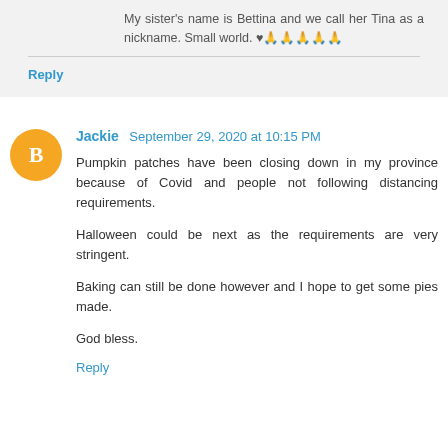My sister's name is Bettina and we call her Tina as a nickname. Small world. ♥🙏🙏🙏🙏🙏
Reply
Jackie  September 29, 2020 at 10:15 PM
Pumpkin patches have been closing down in my province because of Covid and people not following distancing requirements.
Halloween could be next as the requirements are very stringent.
Baking can still be done however and I hope to get some pies made.
God bless.
Reply